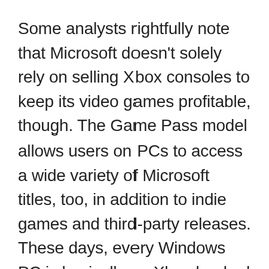Some analysts rightfully note that Microsoft doesn't solely rely on selling Xbox consoles to keep its video games profitable, though. The Game Pass model allows users on PCs to access a wide variety of Microsoft titles, too, in addition to indie games and third-party releases. These days, every Windows PC is basically an Xbox hooked up to a monitor.
That doesn't mean the company...